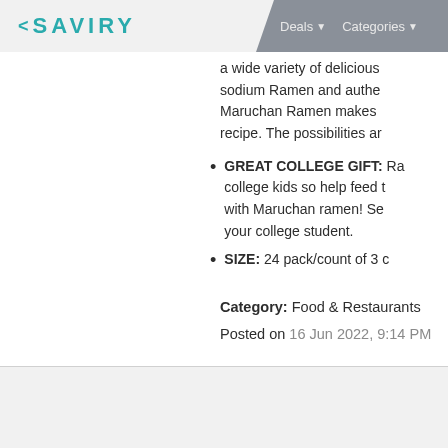< SAVIRY  Deals  Categories
a wide variety of delicious sodium Ramen and authe Maruchan Ramen makes recipe. The possibilities ar
GREAT COLLEGE GIFT: Ra college kids so help feed t with Maruchan ramen! Se your college student.
SIZE: 24 pack/count of 3 c
Category: Food & Restaurants
Posted on 16 Jun 2022, 9:14 PM